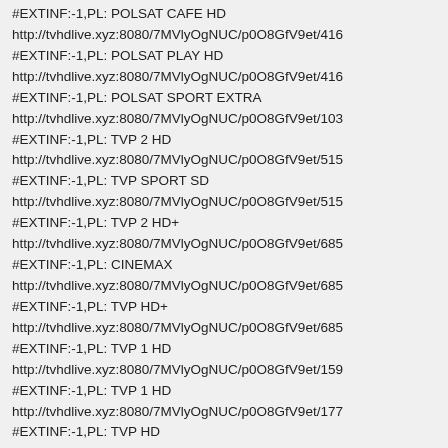#EXTINF:-1,PL: POLSAT CAFE HD
http://tvhdlive.xyz:8080/7MVlyOgNUC/p0O8GfV9et/416
#EXTINF:-1,PL: POLSAT PLAY HD
http://tvhdlive.xyz:8080/7MVlyOgNUC/p0O8GfV9et/416
#EXTINF:-1,PL: POLSAT SPORT EXTRA
http://tvhdlive.xyz:8080/7MVlyOgNUC/p0O8GfV9et/103
#EXTINF:-1,PL: TVP 2 HD
http://tvhdlive.xyz:8080/7MVlyOgNUC/p0O8GfV9et/515
#EXTINF:-1,PL: TVP SPORT SD
http://tvhdlive.xyz:8080/7MVlyOgNUC/p0O8GfV9et/515
#EXTINF:-1,PL: TVP 2 HD+
http://tvhdlive.xyz:8080/7MVlyOgNUC/p0O8GfV9et/685
#EXTINF:-1,PL: CINEMAX
http://tvhdlive.xyz:8080/7MVlyOgNUC/p0O8GfV9et/685
#EXTINF:-1,PL: TVP HD+
http://tvhdlive.xyz:8080/7MVlyOgNUC/p0O8GfV9et/685
#EXTINF:-1,PL: TVP 1 HD
http://tvhdlive.xyz:8080/7MVlyOgNUC/p0O8GfV9et/159
#EXTINF:-1,PL: TVP 1 HD
http://tvhdlive.xyz:8080/7MVlyOgNUC/p0O8GfV9et/177
#EXTINF:-1,PL: TVP HD
http://tvhdlive.xyz:8080/7MVlyOgNUC/p0O8GfV9et/219
#EXTINF:-1,PL: TLC
http://tvhdlive.xyz:8080/7MVlyOgNUC/p0O8GfV9et/418
#EXTINF:-1,PL: TVN